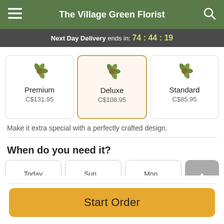The Village Green Florist
Next Day Delivery ends in: 74:44:19
Premium C$131.95
Deluxe C$108.95
Standard C$85.95
Make it extra special with a perfectly crafted design.
When do you need it?
Today Sep 3
Sun Sep 4
Mon Sep 5
Start Order